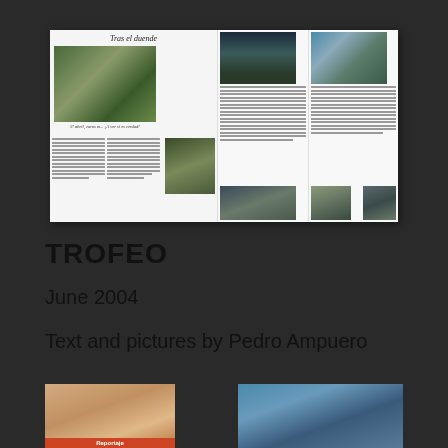[Figure (photo): Magazine spread showing article titled 'Tras el duende' with hunting-themed photographs including a dog in a field, a hunter in camouflage, deer, and a hunter with a dog. Text columns in Spanish.]
TROFEO
June 2004
Text and pictures by Pedro Ampuero
[Figure (photo): Bottom-left thumbnail showing a warm-toned image with an orange/red label bar at the bottom reading 'Reportaje']
[Figure (photo): Bottom-right thumbnail showing a person, teal/blue toned image]